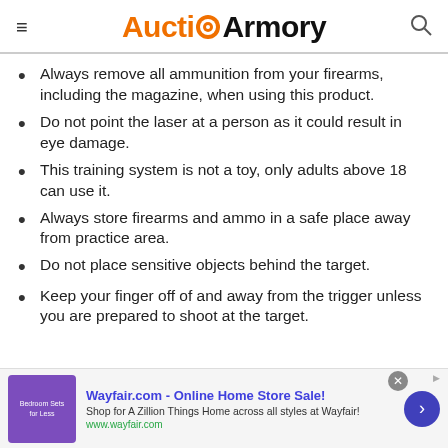Auction Armory
Always remove all ammunition from your firearms, including the magazine, when using this product.
Do not point the laser at a person as it could result in eye damage.
This training system is not a toy, only adults above 18 can use it.
Always store firearms and ammo in a safe place away from practice area.
Do not place sensitive objects behind the target.
Keep your finger off of and away from the trigger unless you are prepared to shoot at the target.
[Figure (screenshot): Wayfair.com advertisement banner: Online Home Store Sale with bedroom image and arrow button]